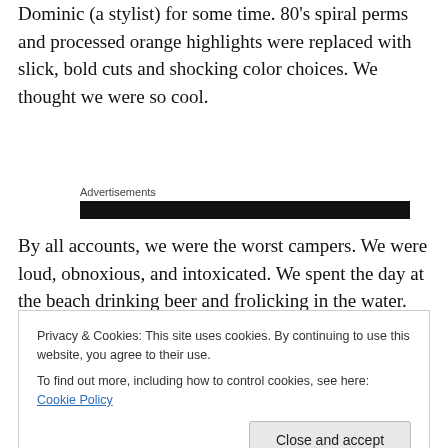Dominic (a stylist) for some time. 80's spiral perms and processed orange highlights were replaced with slick, bold cuts and shocking color choices. We thought we were so cool.
Advertisements
By all accounts, we were the worst campers. We were loud, obnoxious, and intoxicated. We spent the day at the beach drinking beer and frolicking in the water. Deano was
Privacy & Cookies: This site uses cookies. By continuing to use this website, you agree to their use.
To find out more, including how to control cookies, see here: Cookie Policy
only four on the beach. It was packed with people, many